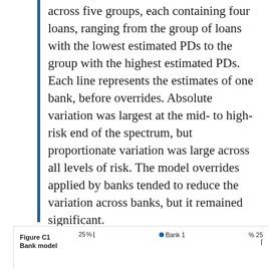across five groups, each containing four loans, ranging from the group of loans with the lowest estimated PDs to the group with the highest estimated PDs. Each line represents the estimates of one bank, before overrides. Absolute variation was largest at the mid- to high-risk end of the spectrum, but proportionate variation was large across all levels of risk. The model overrides applied by banks tended to reduce the variation across banks, but it remained significant.
Figure C1 Bank model
[Figure (line-chart): Partial view of a line chart showing bank model estimates. Y-axis shows percentage up to 25%. Legend shows Bank 1 with a blue dot. Right y-axis also shows 25%.]